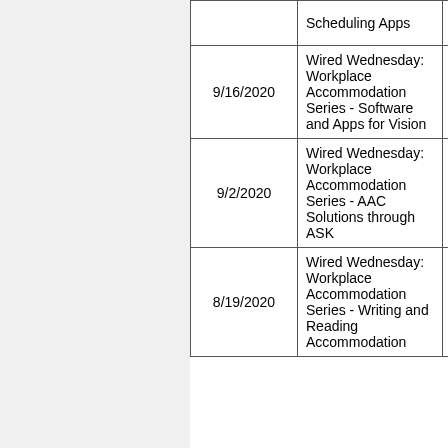| Date | Title | Audio |
| --- | --- | --- |
|  | Scheduling Apps |  |
| 9/16/2020 | Wired Wednesday: Workplace Accommodation Series - Software and Apps for Vision | Audio |
| 9/2/2020 | Wired Wednesday: Workplace Accommodation Series - AAC Solutions through ASK | Audio |
| 8/19/2020 | Wired Wednesday: Workplace Accommodation Series - Writing and Reading Accommodation | Audio |